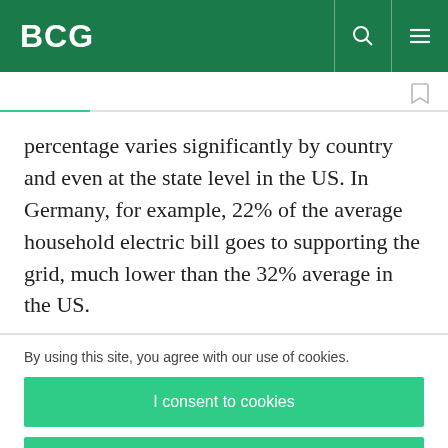BCG
percentage varies significantly by country and even at the state level in the US. In Germany, for example, 22% of the average household electric bill goes to supporting the grid, much lower than the 32% average in the US.
By using this site, you agree with our use of cookies.
I consent to cookies
Want to know more?
Read our Cookie Policy